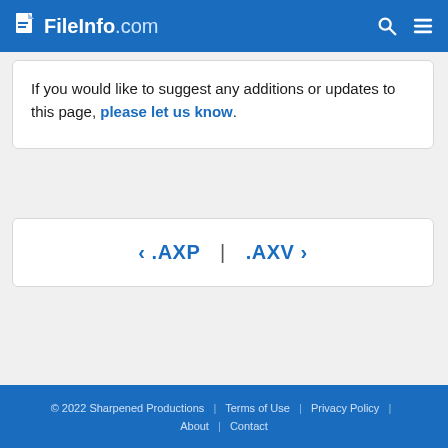FileInfo.com
If you would like to suggest any additions or updates to this page, please let us know.
‹ .AXP  |  .AXV ›
© 2022 Sharpened Productions  |  Terms of Use  |  Privacy Policy  |  About  |  Contact